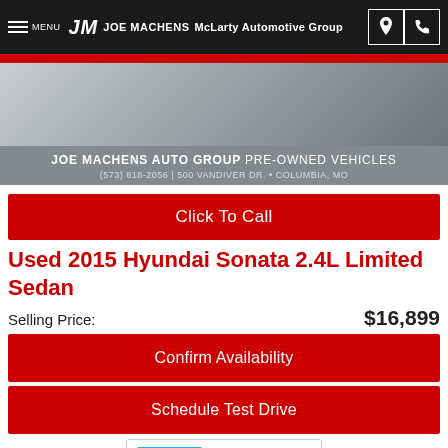MENU  JM  JOE MACHENS  McLarty Automotive Group
[Figure (photo): Car photo with Joe Machens Auto Group Pre-Owned Vehicles banner. Text: JOE MACHENS AUTO GROUP PRE-OWNED VEHICLES | (573) 818-2056 | 500 VANDIVER DR. • COLUMBIA, MO]
Click To Call
Used 2015 Hyundai Sonata 2.4L Limited Sedan
Selling Price: $16,899
Confirm Availability
Schedule Test Drive
[Figure (screenshot): CarStory widget partial view]